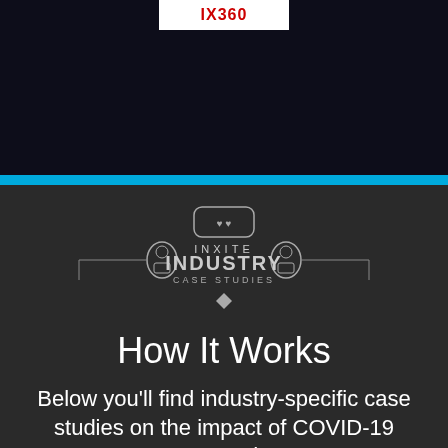[Figure (logo): IX360 logo in white box at top of dark background header section]
[Figure (logo): INXITE INDUSTRY CASE STUDIES logo with robot mascots and decorative bracket frame]
How It Works
Below you'll find industry-specific case studies on the impact of COVID-19 around the world.